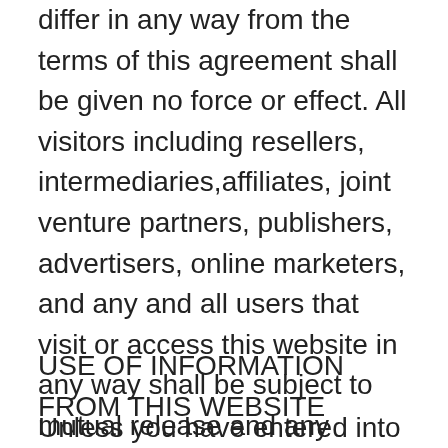differ in any way from the terms of this agreement shall be given no force or effect. All visitors including resellers, intermediaries,affiliates, joint venture partners, publishers, advertisers, online marketers, and any and all users that visit or access this website in any way shall be subject to mutual release and any contracts or agreements are not permitted to be terminated for any cause or reason without mutual written agreement and assent of the website.
USE OF INFORMATION FROM THIS WEBSITE
Unless you have entered into an express